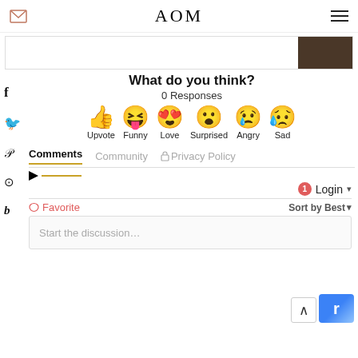AOM
[Figure (photo): Banner image with a dark brown thumbnail on the right side]
What do you think?
0 Responses
[Figure (infographic): Six emoji reaction buttons: Upvote (thumbs up), Funny (laughing face), Love (heart eyes), Surprised (surprised face), Angry (angry crying face), Sad (sad face with tear)]
Comments   Community   Privacy Policy
Login
Favorite   Sort by Best
Start the discussion...